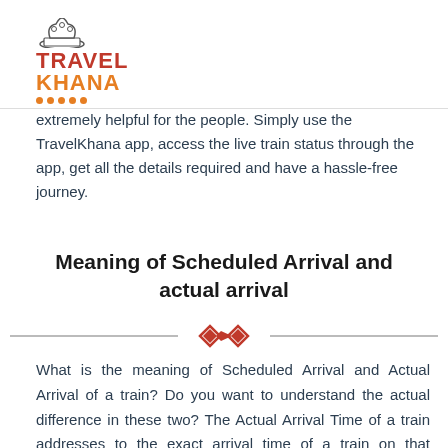TravelKhana logo
extremely helpful for the people. Simply use the TravelKhana app, access the live train status through the app, get all the details required and have a hassle-free journey.
Meaning of Scheduled Arrival and actual arrival
[Figure (illustration): Decorative divider with two red diamond/rhombus shapes flanked by horizontal lines]
What is the meaning of Scheduled Arrival and Actual Arrival of a train? Do you want to understand the actual difference in these two? The Actual Arrival Time of a train addresses to the exact arrival time of a train on that journey date. It could be same as of Scheduled Arrival Time of a train, or could be delayed depending on the